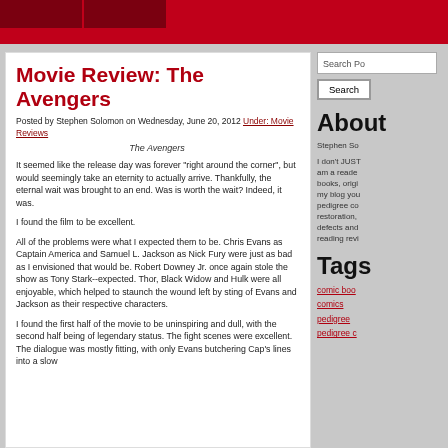Navigation bar
Movie Review: The Avengers
Posted by Stephen Solomon on Wednesday, June 20, 2012 Under: Movie Reviews
The Avengers
It seemed like the release day was forever "right around the corner", but would seemingly take an eternity to actually arrive. Thankfully, the eternal wait was brought to an end. Was is worth the wait? Indeed, it was.
I found the film to be excellent.
All of the problems were what I expected them to be. Chris Evans as Captain America and Samuel L. Jackson as Nick Fury were just as bad as I envisioned that would be. Robert Downey Jr. once again stole the show as Tony Stark--expected. Thor, Black Widow and Hulk were all enjoyable, which helped to staunch the wound left by sting of Evans and Jackson as their respective characters.
I found the first half of the movie to be uninspiring and dull, with the second half being of legendary status. The fight scenes were excellent. The dialogue was mostly fitting, with only Evans butchering Cap's lines into a slow...
Search Po
About
Stephen So
I don't JUST am a reader, books, origi my blog you pedigree co restoration, defects and reading revi
Tags
comic boo
comics
pedigree
pedigree c